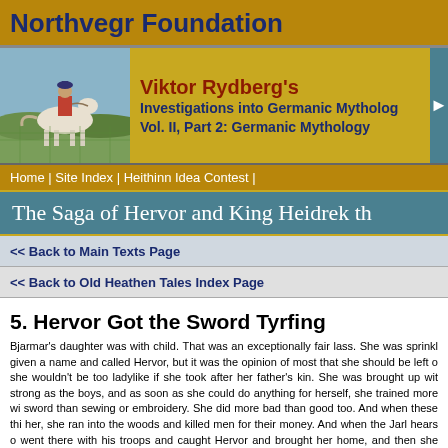Northvegr Foundation
[Figure (illustration): Illustration of a person riding a horse in a landscape]
Viktor Rydberg's Investigations into Germanic Mythology Vol. II, Part 2: Germanic Mythology
Home | Site Index | Heithinn Idea Contest |
The Saga of Hervor and King Heidrek th
<< Back to Main Texts Page
<< Back to Old Heathen Tales Index Page
5. Hervor Got the Sword Tyrfing
Bjarmar's daughter was with child. That was an exceptionally fair lass. She was sprinkled given a name and called Hervor, but it was the opinion of most that she should be left out she wouldn't be too ladylike if she took after her father's kin. She was brought up with strong as the boys, and as soon as she could do anything for herself, she trained more with sword than sewing or embroidery. She did more bad than good too. And when these thin her, she ran into the woods and killed men for their money. And when the Jarl hears of went there with his troops and caught Hervor and brought her home, and then she stayed a
It happened one time, that Hervor was stood outside, near where some thralls were, a go at them, just as she treated everyone.
Then one of the thralls interrupted her, saying, "You, Hervor, you want to do someth be expected of you. And the Jarl has forbidden anyone to tell you about your parents,